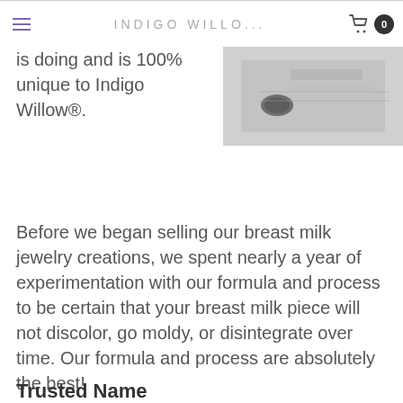INDIGO WILLO...
is doing and is 100% unique to Indigo Willow®. Before we began selling our breast milk jewelry creations, we spent nearly a year of experimentation with our formula and process to be certain that your breast milk piece will not discolor, go moldy, or disintegrate over time. Our formula and process are absolutely the best!
[Figure (photo): Close-up photograph of jewelry-making tools and materials on a metallic surface]
Trusted Name